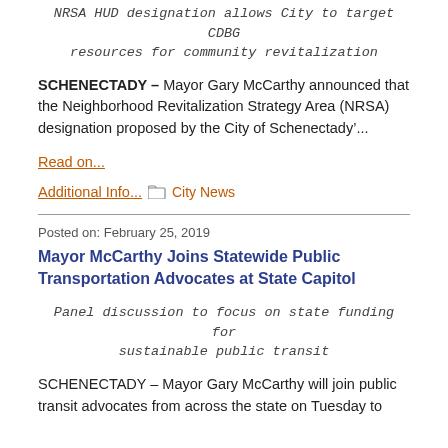NRSA HUD designation allows City to target CDBG resources for community revitalization
SCHENECTADY – Mayor Gary McCarthy announced that the Neighborhood Revitalization Strategy Area (NRSA) designation proposed by the City of Schenectady&rsquo;...
Read on...
Additional Info...  City News
Posted on: February 25, 2019
Mayor McCarthy Joins Statewide Public Transportation Advocates at State Capitol
Panel discussion to focus on state funding for sustainable public transit
SCHENECTADY – Mayor Gary McCarthy will join public transit advocates from across the state on Tuesday to...